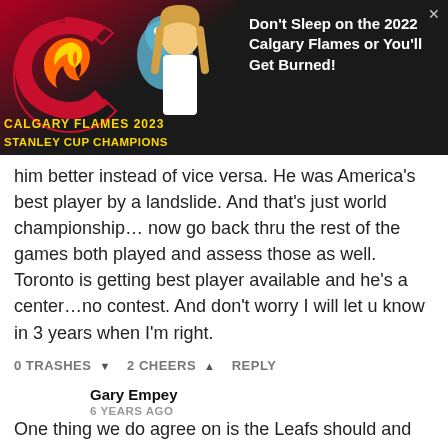[Figure (photo): Ad banner: Calgary Flames 2023 Stanley Cup Champions promotional image with a woman and Flames logo on dark background. Right side text: 'Don't Sleep on the 2022 Calgary Flames or You'll Get Burned!']
him better instead of vice versa. He was America's best player by a landslide. And that's just world championship… now go back thru the rest of the games both played and assess those as well. Toronto is getting best player available and he's a center…no contest. And don't worry I will let u know in 3 years when I'm right.
0 TRASHES  2 CHEERS  REPLY
Gary Empey
6 YEARS AGO
One thing we do agree on is the Leafs should and likely will be choosing Matthews in this years draft. There is a very good chance both Laine and Matthews will both